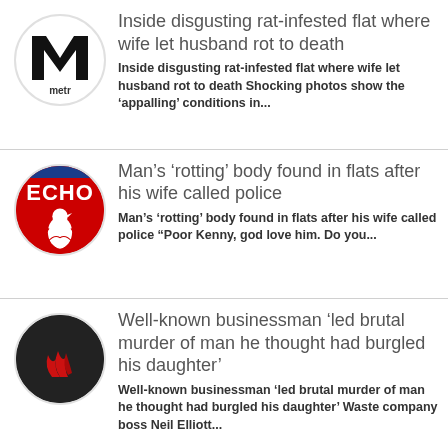[Figure (logo): Metro newspaper logo — circular white with black M and 'metr' text]
Inside disgusting rat-infested flat where wife let husband rot to death
Inside disgusting rat-infested flat where wife let husband rot to death Shocking photos show the ‘appalling’ conditions in...
[Figure (logo): Liverpool Echo logo — red circle with ECHO text and liver bird]
Man’s ‘rotting’ body found in flats after his wife called police
Man’s ‘rotting’ body found in flats after his wife called police “Poor Kenny, god love him. Do you...
[Figure (logo): Dark circular logo with red flame/wave icon]
Well-known businessman ‘led brutal murder of man he thought had burgled his daughter’
Well-known businessman ‘led brutal murder of man he thought had burgled his daughter’ Waste company boss Neil Elliott...